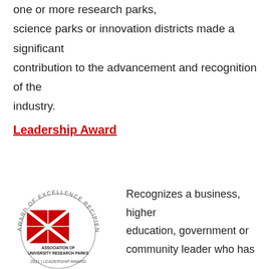one or more research parks, science parks or innovation districts made a significant contribution to the advancement and recognition of the industry.
Leadership Award
[Figure (logo): Association of University Research Parks Award of Excellence Recipient badge with circular text and AURP logo, 2021 Leadership Award]
Recognizes a business, higher education, government or community leader who has